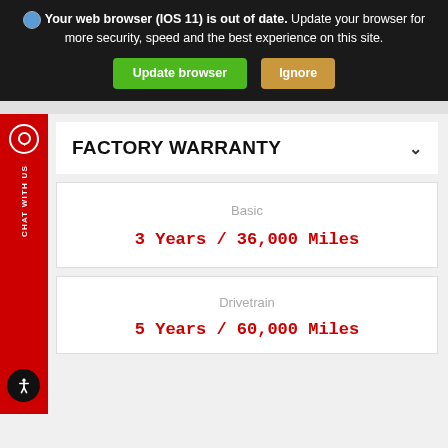Your web browser (IOS 11) is out of date. Update your browser for more security, speed and the best experience on this site.
Update browser | Ignore
FACTORY WARRANTY
Basic
3 Years / 36,000 Miles
Drivetrain
5 Years / 60,000 Miles